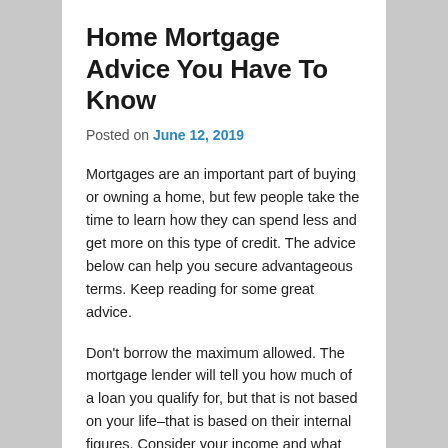Home Mortgage Advice You Have To Know
Posted on June 12, 2019
Mortgages are an important part of buying or owning a home, but few people take the time to learn how they can spend less and get more on this type of credit. The advice below can help you secure advantageous terms. Keep reading for some great advice.
Don't borrow the maximum allowed. The mortgage lender will tell you how much of a loan you qualify for, but that is not based on your life–that is based on their internal figures. Consider your income and what you need to be able to be comfortable.
Pay down your current debt and avoid gaining new debt while going through the mortgage loan process. If you have low consumer debt, your mortgage loan will be much